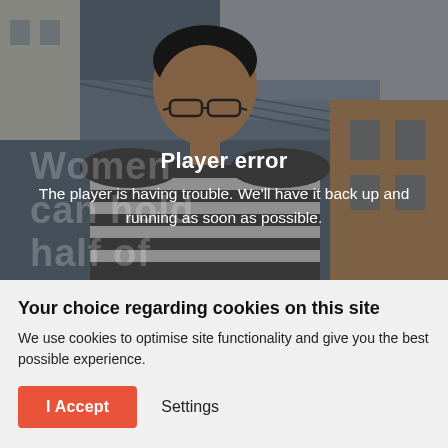[Figure (photo): A video player showing a person (woman with glasses and short dark hair wearing a striped top) in front of a building with a glass roof. The player displays an error overlay with the text 'Player error' and 'The player is having trouble. We'll have it back up and running as soon as possible.' Overlaid watermark text reads 'Women can hold half of the sky'.]
Your choice regarding cookies on this site
We use cookies to optimise site functionality and give you the best possible experience.